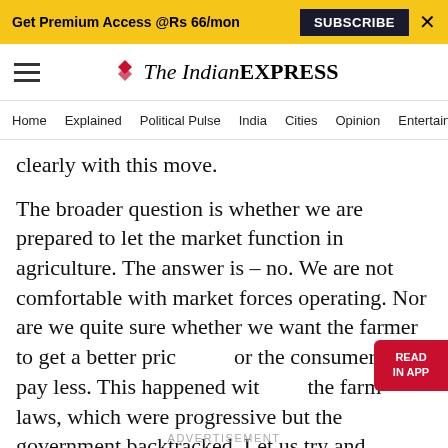Get Premium Access @Rs 66/mon  SUBSCRIBE  ×
[Figure (logo): The Indian Express logo with red chevron icon and serif/sans-serif logotype]
Home  Explained  Political Pulse  India  Cities  Opinion  Entertainment
clearly with this move.
The broader question is whether we are prepared to let the market function in agriculture. The answer is – no. We are not comfortable with market forces operating. Nor are we quite sure whether we want the farmer to get a better price or the consumer to pay less. This happened with the farm laws, which were progressive but the government backtracked. Let us try and understand how this ban has come about.
ADVERTISEMENT